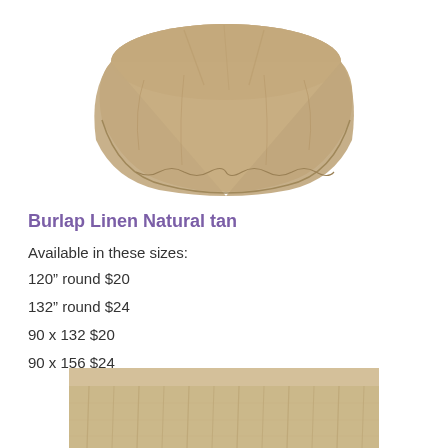[Figure (photo): Burlap linen natural tan round tablecloth draped over a round table, showing tan/beige textured fabric with draped edges.]
Burlap Linen Natural tan
Available in these sizes:
120” round $20
132” round $24
90 x 132 $20
90 x 156 $24
[Figure (photo): Bottom portion of a burlap linen table skirt or tablecloth on a rectangular table, showing ruffled/gathered tan fabric at the bottom edge.]